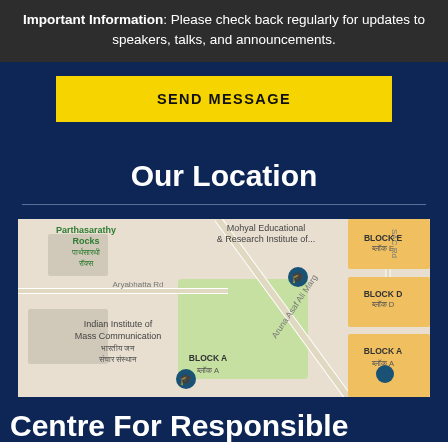Important Information: Please check back regularly for updates to speakers, talks, and announcements.
SEND MESSAGE
Our Location
[Figure (map): Google Maps screenshot showing Indian Institute of Mass Communication area in New Delhi, with labels for Parthasarathy Rocks, Mohyal Educational & Research Institute, Aryabhatta Rd, Aruna Asaf Ali Marg, SAC Rd, Block A, Block D, Block E, and location pins.]
Centre For Responsible